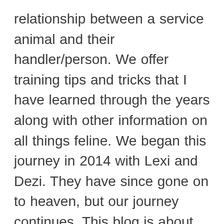relationship between a service animal and their handler/person. We offer training tips and tricks that I have learned through the years along with other information on all things feline. We began this journey in 2014 with Lexi and Dezi. They have since gone on to heaven, but our journey continues. This blog is about our daily life from the kitty's point of view. I want this blog to be interactive and get to know all of you, so comment and visit often. I will also offer advice, training tips, and questions and…